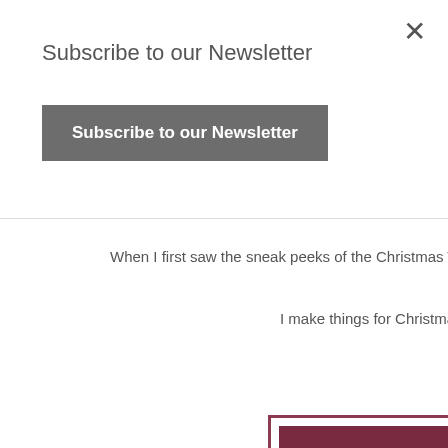×
Subscribe to our Newsletter
Subscribe to our Newsletter
When I first saw the sneak peeks of the Christmas Time Is Here Bu
I make things for Christmas every year in the tradit
So at the very first o
[Figure (photo): A handmade Christmas card with a dark rose/burgundy border and panel, with botanical elements including pine cones, green leaves, and red berries on a light gray background]